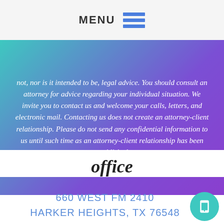MENU
not, nor is it intended to be, legal advice. You should consult an attorney for advice regarding your individual situation. We invite you to contact us and welcome your calls, letters, and electronic mail. Contacting us does not create an attorney-client relationship. Please do not send any confidential information to us until such time as an attorney-client relationship has been established.
office
660 WEST FM 2410
HARKER HEIGHTS, TX 76548